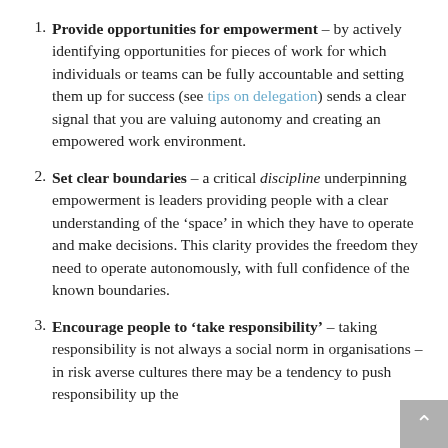Provide opportunities for empowerment – by actively identifying opportunities for pieces of work for which individuals or teams can be fully accountable and setting them up for success (see tips on delegation) sends a clear signal that you are valuing autonomy and creating an empowered work environment.
Set clear boundaries – a critical discipline underpinning empowerment is leaders providing people with a clear understanding of the 'space' in which they have to operate and make decisions. This clarity provides the freedom they need to operate autonomously, with full confidence of the known boundaries.
Encourage people to 'take responsibility' – taking responsibility is not always a social norm in organisations – in risk averse cultures there may be a tendency to push responsibility up the